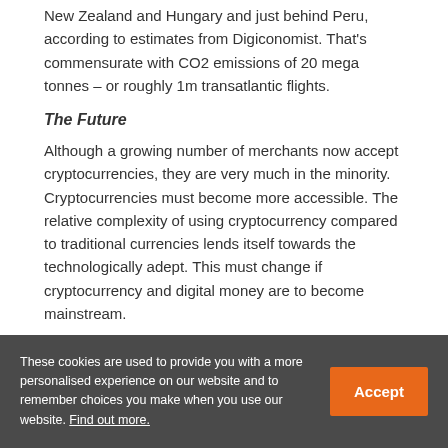New Zealand and Hungary and just behind Peru, according to estimates from Digiconomist. That's commensurate with CO2 emissions of 20 mega tonnes – or roughly 1m transatlantic flights.
The Future
Although a growing number of merchants now accept cryptocurrencies, they are very much in the minority. Cryptocurrencies must become more accessible. The relative complexity of using cryptocurrency compared to traditional currencies lends itself towards the technologically adept. This must change if cryptocurrency and digital money are to become mainstream.
Cryptocurrency: it's not just bitcoin anymore. In under a year, the concept of cryptocurrency will turn 10. As it's aged, it has begun to create jobs, inspire entrepreneurs to create
These cookies are used to provide you with a more personalised experience on our website and to remember choices you make when you use our website. Find out more.